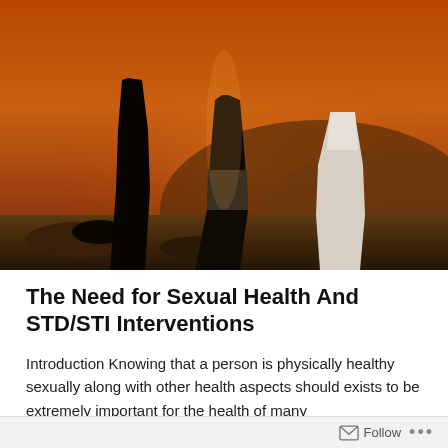[Figure (photo): Outdoor photograph of three people standing on a hillside at sunset/golden hour. The figures are shown from approximately the waist down. One person wears dark pants on the left, a person with shorts in the center, and a person in lighter clothing on the right. Warm orange and brown tones dominate the scene with rocky/grassy terrain.]
The Need for Sexual Health And STD/STI Interventions
Introduction Knowing that a person is physically healthy sexually along with other health aspects should exists to be extremely important for the health of many